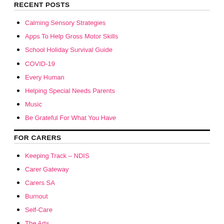RECENT POSTS
Calming Sensory Strategies
Apps To Help Gross Motor Skills
School Holiday Survival Guide
COVID-19
Every Human
Helping Special Needs Parents
Music
Be Grateful For What You Have
FOR CARERS
Keeping Track – NDIS
Carer Gateway
Carers SA
Burnout
Self-Care
The Arts
Sensory Seekers
STEPS TO INCLUSIVITY